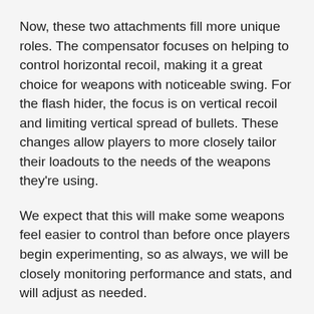Now, these two attachments fill more unique roles. The compensator focuses on helping to control horizontal recoil, making it a great choice for weapons with noticeable swing. For the flash hider, the focus is on vertical recoil and limiting vertical spread of bullets. These changes allow players to more closely tailor their loadouts to the needs of the weapons they're using.
We expect that this will make some weapons feel easier to control than before once players begin experimenting, so as always, we will be closely monitoring performance and stats, and will adjust as needed.
OPERATOR BALANCING